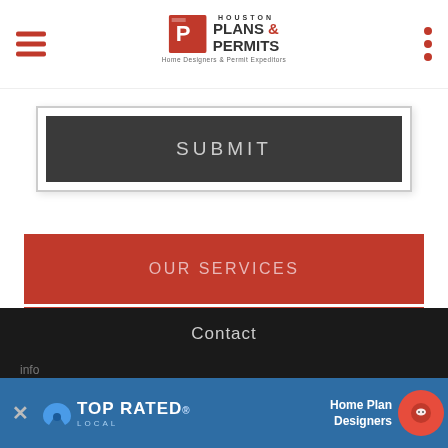Houston Plans & Permits — Home Designers & Permit Expeditors
SUBMIT
OUR SERVICES
CONTACT: (281) 784-0227
Contact
info
[Figure (screenshot): Top Rated Local advertisement bar with close button, Top Rated Local logo with bird, and Home Plan Designers text with chat button]